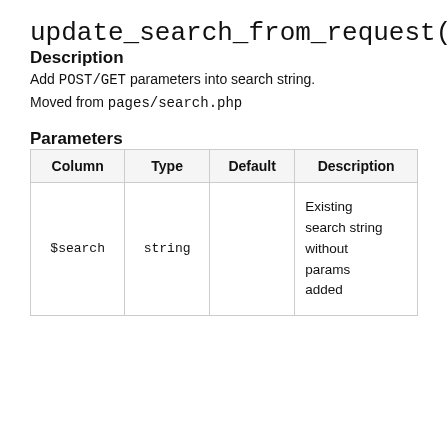update_search_from_request()
Description
Add POST/GET parameters into search string.
Moved from pages/search.php
Parameters
| Column | Type | Default | Description |
| --- | --- | --- | --- |
| $search | string |  | Existing search string without params added |